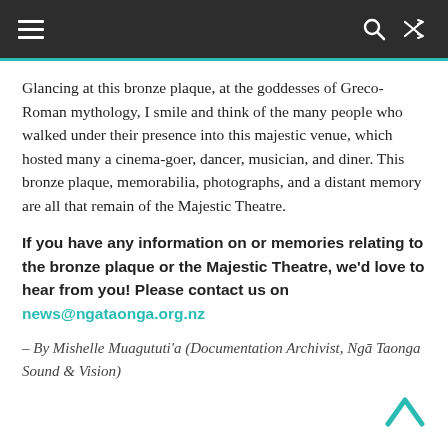≡  🔍  ⇌
Glancing at this bronze plaque, at the goddesses of Greco-Roman mythology, I smile and think of the many people who walked under their presence into this majestic venue, which hosted many a cinema-goer, dancer, musician, and diner. This bronze plaque, memorabilia, photographs, and a distant memory are all that remain of the Majestic Theatre.
If you have any information on or memories relating to the bronze plaque or the Majestic Theatre, we'd love to hear from you! Please contact us on news@ngataonga.org.nz
– By Mishelle Muagututi'a (Documentation Archivist, Ngā Taonga Sound & Vision)